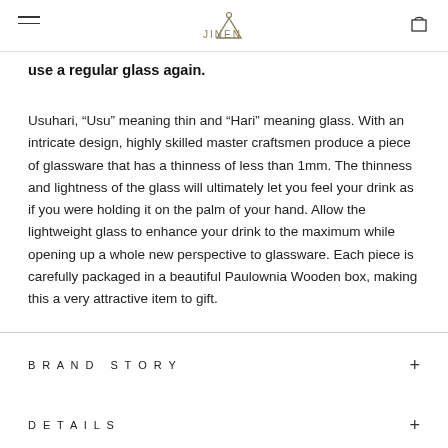JINEN
use a regular glass again.
Usuhari, “Usu” meaning thin and “Hari” meaning glass. With an intricate design, highly skilled master craftsmen produce a piece of glassware that has a thinness of less than 1mm. The thinness and lightness of the glass will ultimately let you feel your drink as if you were holding it on the palm of your hand. Allow the lightweight glass to enhance your drink to the maximum while opening up a whole new perspective to glassware. Each piece is carefully packaged in a beautiful Paulownia Wooden box, making this a very attractive item to gift.
BRAND STORY
DETAILS